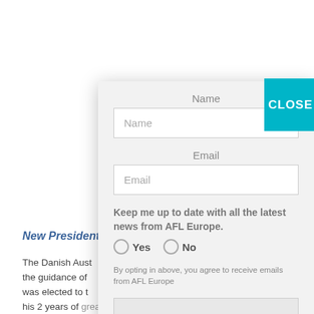New President i…
The Danish Aust… the guidance of… was elected to t… his 2 years of great service. more has been an integral
[Figure (screenshot): A modal subscription form with fields for Name and Email, a newsletter opt-in radio question ('Keep me up to date with all the latest news from AFL Europe. Yes / No'), a disclaimer about opting in, and a Subscribe button. A teal CLOSE button is in the top-right corner of the modal.]